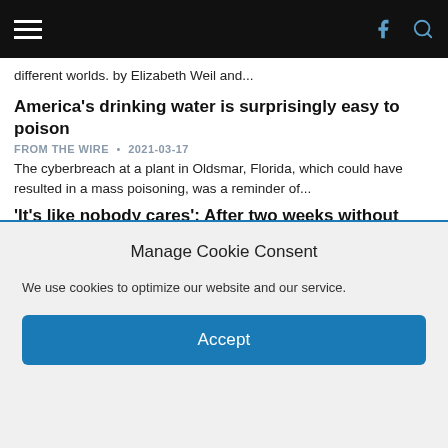Navigation bar with hamburger menu, Facebook and search icons
different worlds. by Elizabeth Weil and...
America's drinking water is surprisingly easy to poison
FROM THE WIRE  •  2021-03-17
The cyberbreach at a plant in Oldsmar, Florida, which could have resulted in a mass poisoning, was a reminder of...
'It's like nobody cares': After two weeks without running water, Jackson, Miss. pleads for help
FROM THE WIRE  •  2021-03-02
"Water is a basic necessity and it just brought a lot of frustration, anger, and disappointment," said one of the...
Getting the lead out
Manage Cookie Consent

We use cookies to optimize our website and our service.

Accept